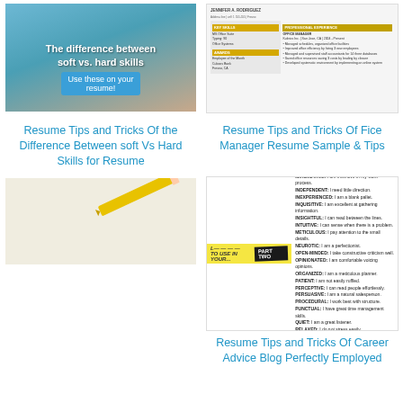[Figure (photo): Thumbnail image of person with text overlay: 'The difference between soft vs. hard skills — Use these on your resume!']
Resume Tips and Tricks Of the Difference Between soft Vs Hard Skills for Resume
[Figure (screenshot): Thumbnail of an office manager resume document with yellow section headers]
Resume Tips and Tricks Of Fice Manager Resume Sample & Tips
[Figure (screenshot): List of personality/soft skill words with bold term followed by description, titled 'TO USE IN YOUR... PART TWO']
Resume Tips and Tricks Of Career Advice Blog Perfectly Employed
[Figure (photo): Image with pencil and text '12 Things']